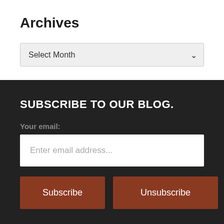Archives
Select Month
SUBSCRIBE TO OUR BLOG.
Your email:
Enter email address...
Subscribe
Unsubscribe